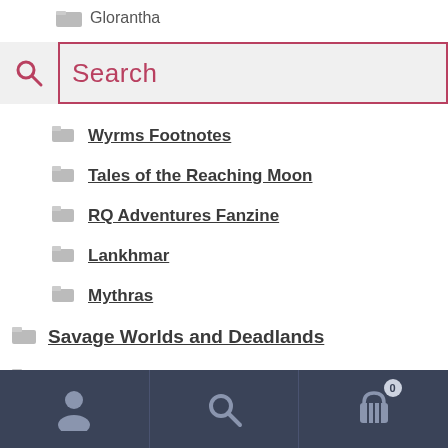Glorantha
[Figure (screenshot): Search bar with magnifying glass icon and text input box outlined in red/crimson, showing placeholder text 'Search']
Wyrms Footnotes
Tales of the Reaching Moon
RQ Adventures Fanzine
Lankhmar
Mythras
Savage Worlds and Deadlands
Shadowrun
Star Trek
Star Wars
[Figure (screenshot): Mobile app bottom navigation bar with user/account icon, search icon, and shopping cart icon with badge showing 0]